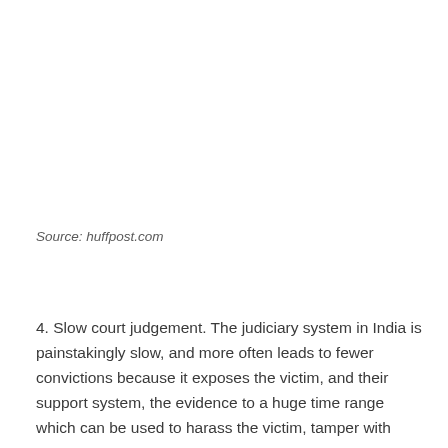Source: huffpost.com
4. Slow court judgement. The judiciary system in India is painstakingly slow, and more often leads to fewer convictions because it exposes the victim, and their support system, the evidence to a huge time range which can be used to harass the victim, tamper with evidence and bribe, or move beyond the range of accountability.